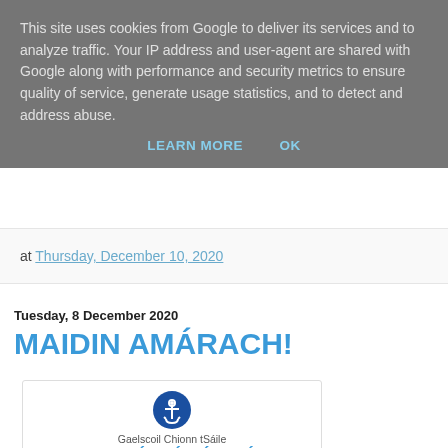This site uses cookies from Google to deliver its services and to analyze traffic. Your IP address and user-agent are shared with Google along with performance and security metrics to ensure quality of service, generate usage statistics, and to detect and address abuse.
LEARN MORE   OK
at Thursday, December 10, 2020
Tuesday, 8 December 2020
MAIDIN AMÁRACH!
[Figure (illustration): School notice card for Gaelscoil Chionn tSáile showing an anchor logo, title BAILIÚCHÁN ÉADAÍ (clothing collection), subtitle in Irish: Céadaoin 9ú Mí na Nollag sa CHÁR CHLÓS]